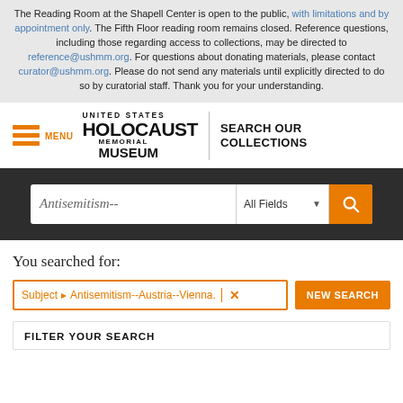The Reading Room at the Shapell Center is open to the public, with limitations and by appointment only. The Fifth Floor reading room remains closed. Reference questions, including those regarding access to collections, may be directed to reference@ushmm.org. For questions about donating materials, please contact curator@ushmm.org. Please do not send any materials until explicitly directed to do so by curatorial staff. Thank you for your understanding.
[Figure (screenshot): United States Holocaust Memorial Museum navigation bar with hamburger menu, USHMM logo, and 'Search Our Collections' text]
[Figure (screenshot): Hero search bar with 'Antisemitism--' text input, 'All Fields' dropdown, and orange search button, over dark background]
You searched for:
Subject > Antisemitism--Austria--Vienna.
NEW SEARCH
FILTER YOUR SEARCH